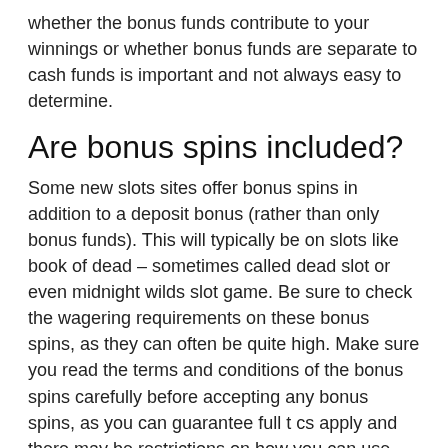whether the bonus funds contribute to your winnings or whether bonus funds are separate to cash funds is important and not always easy to determine.
Are bonus spins included?
Some new slots sites offer bonus spins in addition to a deposit bonus (rather than only bonus funds). This will typically be on slots like book of dead – sometimes called dead slot or even midnight wilds slot game. Be sure to check the wagering requirements on these bonus spins, as they can often be quite high. Make sure you read the terms and conditions of the bonus spins carefully before accepting any bonus spins, as you can guarantee full t cs apply and there may be restrictions on how you can use only bonus funds. If they are for book of dead, remember there may be game restrictions that apply. For example, you will most likely not be allowed to play max bet.
Only bonus funds count towards